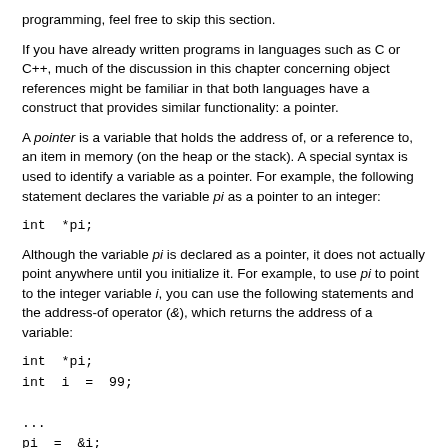programming, feel free to skip this section.
If you have already written programs in languages such as C or C++, much of the discussion in this chapter concerning object references might be familiar in that both languages have a construct that provides similar functionality: a pointer.
A pointer is a variable that holds the address of, or a reference to, an item in memory (on the heap or the stack). A special syntax is used to identify a variable as a pointer. For example, the following statement declares the variable pi as a pointer to an integer:
Although the variable pi is declared as a pointer, it does not actually point anywhere until you initialize it. For example, to use pi to point to the integer variable i, you can use the following statements and the address-of operator (&), which returns the address of a variable:
You can access and modify the value held in the variable i through the pointer variable pi like this: